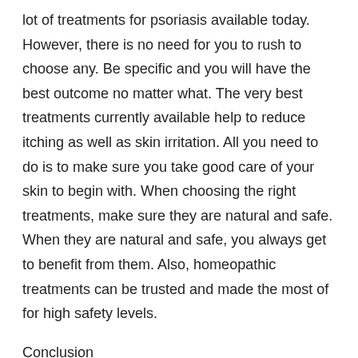lot of treatments for psoriasis available today. However, there is no need for you to rush to choose any. Be specific and you will have the best outcome no matter what. The very best treatments currently available help to reduce itching as well as skin irritation. All you need to do is to make sure you take good care of your skin to begin with. When choosing the right treatments, make sure they are natural and safe. When they are natural and safe, you always get to benefit from them. Also, homeopathic treatments can be trusted and made the most of for high safety levels.
Conclusion
Do not sit down and welcome a life of misery because you have psoriasis disease. You need to be ready to make the very best decisions. One of them should be getting the right homeopathic help and treatment. There will always be a treatment available for you. So, make sure you take nothing lightly. Always try to find the